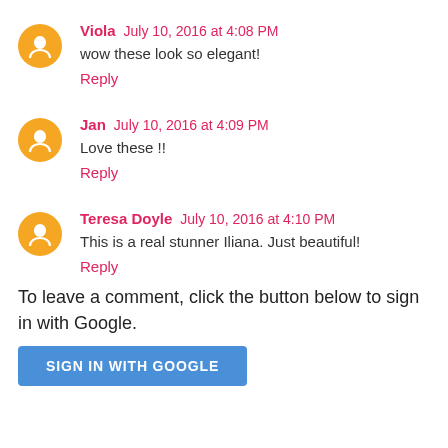Viola  July 10, 2016 at 4:08 PM
wow these look so elegant!
Reply
Jan  July 10, 2016 at 4:09 PM
Love these !!
Reply
Teresa Doyle  July 10, 2016 at 4:10 PM
This is a real stunner Iliana. Just beautiful!
Reply
To leave a comment, click the button below to sign in with Google.
SIGN IN WITH GOOGLE